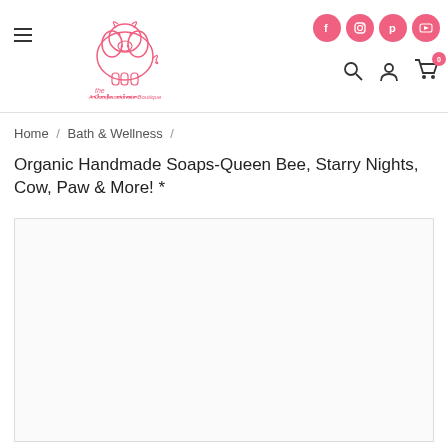The Pink Pigs – A Compassionate Boutique
Home / Bath & Wellness /
Organic Handmade Soaps-Queen Bee, Starry Nights, Cow, Paw & More! *
[Figure (photo): Product image area (white/blank box)]